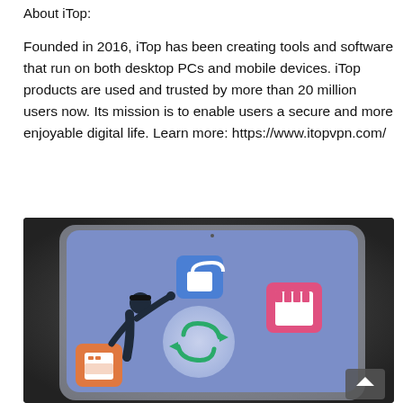About iTop:
Founded in 2016, iTop has been creating tools and software that run on both desktop PCs and mobile devices. iTop products are used and trusted by more than 20 million users now. Its mission is to enable users a secure and more enjoyable digital life. Learn more: https://www.itopvpn.com/
[Figure (illustration): Promotional illustration showing a laptop/tablet screen with a blue interface, a figure of a person with arm raised, app icons (lock, SD card, orange drive), and a circular refresh/sync icon in the center. Dark background with gradient.]